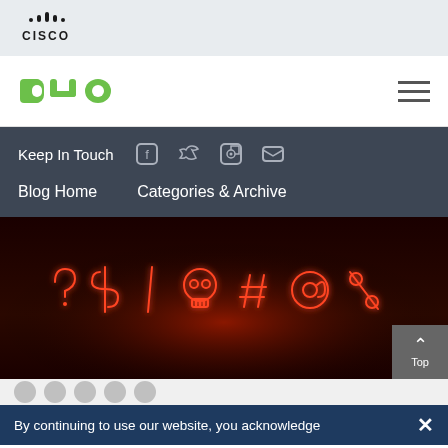[Figure (logo): Cisco logo with stylized bars above the word CISCO]
[Figure (logo): Duo Security logo in green with hamburger menu icon]
Keep In Touch
[Figure (infographic): Social media icons: Facebook, Twitter, RSS feed, Email]
Blog Home
Categories & Archive
[Figure (photo): Neon sign art showing symbols: ? $ | skull # @ % in red neon on dark background]
By continuing to use our website, you acknowledge